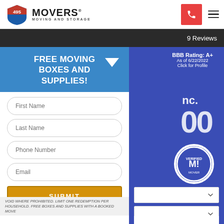[Figure (logo): 495 Movers Moving and Storage logo with highway shield icon]
9 Reviews
BBB Rating: A+
As of 6/22/2022
Click for Profile
FREE MOVING BOXES AND SUPPLIES!
First Name
Last Name
Phone Number
Email
SUBMIT
VOID WHERE PROHIBITED. LIMIT ONE REDEMPTION PER HOUSEHOLD. FREE BOXES AND SUPPLIES WITH A BOOKED MOVE